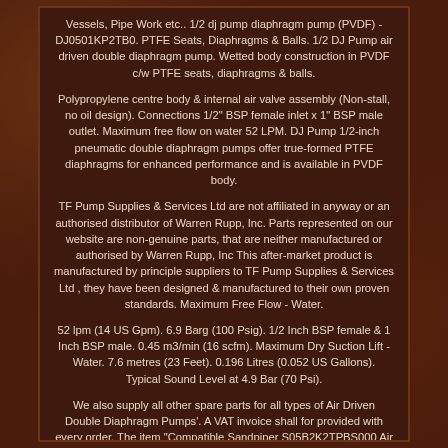Vessels, Pipe Work etc.. 1/2 dj pump diaphragm pump (PVDF) - DJ0501KP2TB0. PTFE Seats, Diaphragms & Balls. 1/2 DJ Pump air driven double diaphragm pump. Wetted body construction in PVDF c/w PTFE seats, diaphragms & balls.
Polypropylene centre body & internal air valve assembly (Non-stall, no oil design). Connections 1/2" BSP female inlet x 1" BSP male outlet. Maximum free flow on water 52 LPM. DJ Pump 1/2-inch pneumatic double diaphragm pumps offer true-formed PTFE diaphragms for enhanced performance and is available in PVDF body.
TF Pump Supplies & Services Ltd are not affiliated in anyway or an authorised distributor of Warren Rupp, Inc. Parts represented on our website are non-genuine parts, that are neither manufactured or authorised by Warren Rupp, Inc This after-market product is manufactured by principle suppliers to TF Pump Supplies & Services Ltd , they have been designed & manufactured to their own proven standards. Maximum Free Flow - Water.
52 lpm (14 US Gpm). 6.9 Barg (100 Psig). 1/2 Inch BSP female & 1 Inch BSP male. 0.45 m3/min (16 scfm). Maximum Dry Suction Lift - Water. 7.6 metres (23 Feet). 0.196 Litres (0.052 US Gallons). Typical Sound Level at 4.9 Bar (70 Psi).
We also supply all other spare parts for all types of Air Driven Double Diaphragm Pumps'. A VAT invoice shall for provided with every order. The item "Compatible Sandpiper S05B2K2TPBS000 Air Diaphragm Pump 1/2 BSP(KY/PTF/PTF/PTF)" is in sale since Monday, January 25, 2021. This item is in the category "Business, Office & Industrial\Hydraulics, Pneumatics, Pumps & Plumbing\Pumps & Pump Accessories\Vacuum Pumps\Diaphragm Pumps".